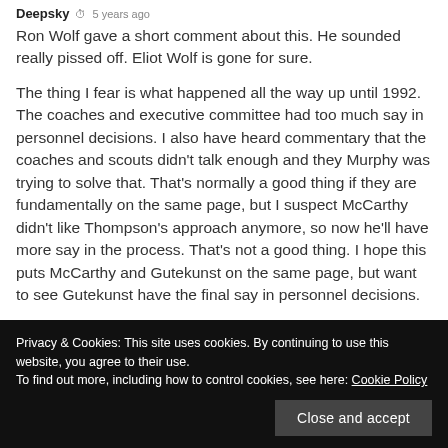Deepsky · 5 years ago
Ron Wolf gave a short comment about this. He sounded really pissed off. Eliot Wolf is gone for sure.
The thing I fear is what happened all the way up until 1992. The coaches and executive committee had too much say in personnel decisions. I also have heard commentary that the coaches and scouts didn't talk enough and they Murphy was trying to solve that. That's normally a good thing if they are fundamentally on the same page, but I suspect McCarthy didn't like Thompson's approach anymore, so now he'll have more say in the process. That's not a good thing. I hope this puts McCarthy and Gutekunst on the same page, but want to see Gutekunst have the final say in personnel decisions.
Privacy & Cookies: This site uses cookies. By continuing to use this website, you agree to their use.
To find out more, including how to control cookies, see here: Cookie Policy
Close and accept